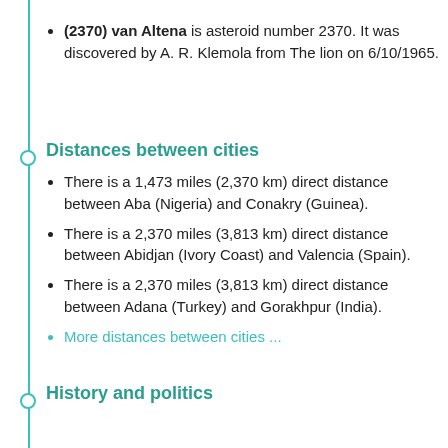(2370) van Altena is asteroid number 2370. It was discovered by A. R. Klemola from The lion on 6/10/1965.
Distances between cities
There is a 1,473 miles (2,370 km) direct distance between Aba (Nigeria) and Conakry (Guinea).
There is a 2,370 miles (3,813 km) direct distance between Abidjan (Ivory Coast) and Valencia (Spain).
There is a 2,370 miles (3,813 km) direct distance between Adana (Turkey) and Gorakhpur (India).
More distances between cities ...
History and politics